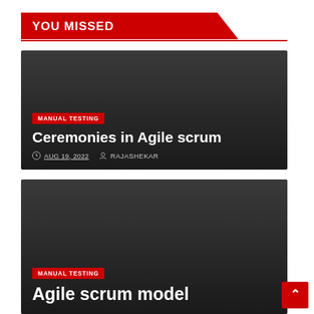YOU MISSED
[Figure (screenshot): Dark card with 'MANUAL TESTING' category badge, title 'Ceremonies in Agile scrum', date AUG 19, 2022, author RAJASHEKAR]
MANUAL TESTING
Ceremonies in Agile scrum
AUG 19, 2022   RAJASHEKAR
[Figure (screenshot): Dark card with 'MANUAL TESTING' category badge, title 'Agile scrum model']
MANUAL TESTING
Agile scrum model